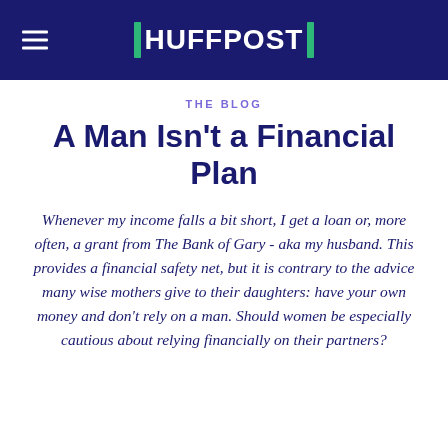HUFFPOST
THE BLOG
A Man Isn't a Financial Plan
Whenever my income falls a bit short, I get a loan or, more often, a grant from The Bank of Gary - aka my husband. This provides a financial safety net, but it is contrary to the advice many wise mothers give to their daughters: have your own money and don't rely on a man. Should women be especially cautious about relying financially on their partners?